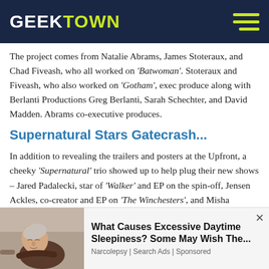GEEKTOWN
The project comes from Natalie Abrams, James Stoteraux, and Chad Fiveash, who all worked on 'Batwoman'. Stoteraux and Fiveash, who also worked on 'Gotham', exec produce along with Berlanti Productions Greg Berlanti, Sarah Schechter, and David Madden. Abrams co-executive produces.
Supernatural Stars Gatecrash...
In addition to revealing the trailers and posters at the Upfront, a cheeky 'Supernatural' trio showed up to help plug their new shows – Jared Padalecki, star of 'Walker' and EP on the spin-off, Jensen Ackles, co-creator and EP on 'The Winchesters', and Misha Collins, who is playing Harvey Dent in 'Gotham Knights'.
Whilst the three were there to plug their new dramas, it didn't stop them from pitching some ideas to CW boss Mark Pedowitz for possible one-off specials. Collins pitched "A Very
[Figure (photo): Sleeping elderly man in chair - advertisement image]
What Causes Excessive Daytime Sleepiness? Some May Wish The...
Narcolepsy | Search Ads | Sponsored